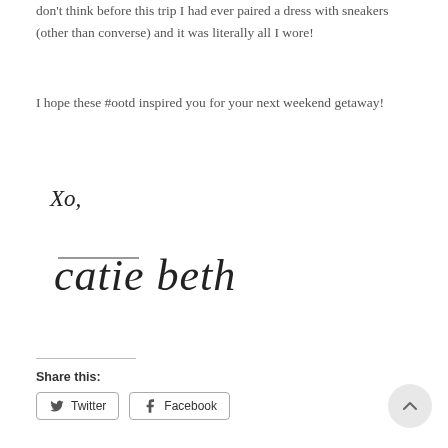don't think before this trip I had ever paired a dress with sneakers (other than converse) and it was literally all I wore!
I hope these #ootd inspired you for your next weekend getaway!
Xo,
[Figure (illustration): Handwritten cursive signature reading 'catie beth' with decorative overline above 'catie']
Share this:
Twitter
Facebook